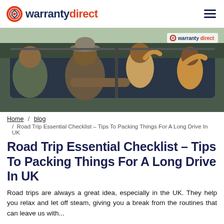warranty direct
[Figure (photo): A happy family — a man wearing a hat, a woman, and two smiling children — leaning out of a car window on a road trip. The Warranty Direct watermark logo appears in the top right corner of the image.]
Home / blog / Road Trip Essential Checklist – Tips To Packing Things For A Long Drive In UK
Road Trip Essential Checklist – Tips To Packing Things For A Long Drive In UK
Road trips are always a great idea, especially in the UK. They help you relax and let off steam, giving you a break from the routines that can leave us...